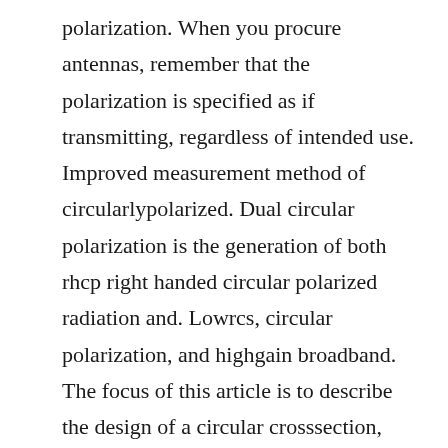polarization. When you procure antennas, remember that the polarization is specified as if transmitting, regardless of intended use. Improved measurement method of circularlypolarized. Dual circular polarization is the generation of both rhcp right handed circular polarized radiation and. Lowrcs, circular polarization, and highgain broadband. The focus of this article is to describe the design of a circular crosssection, primefocus, feed waveguide with septum polarization transformer with the goal of improving the overall antenna. Defining the polarization